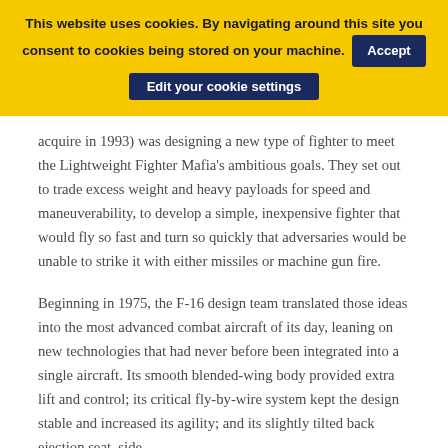This website uses cookies. By navigating around this site you consent to cookies being stored on your machine. Accept Edit your cookie settings
acquire in 1993) was designing a new type of fighter to meet the Lightweight Fighter Mafia's ambitious goals. They set out to trade excess weight and heavy payloads for speed and maneuverability, to develop a simple, inexpensive fighter that would fly so fast and turn so quickly that adversaries would be unable to strike it with either missiles or machine gun fire.
Beginning in 1975, the F-16 design team translated those ideas into the most advanced combat aircraft of its day, leaning on new technologies that had never before been integrated into a single aircraft. Its smooth blended-wing body provided extra lift and control; its critical fly-by-wire system kept the design stable and increased its agility; and its slightly tilted back ejection seat, side-